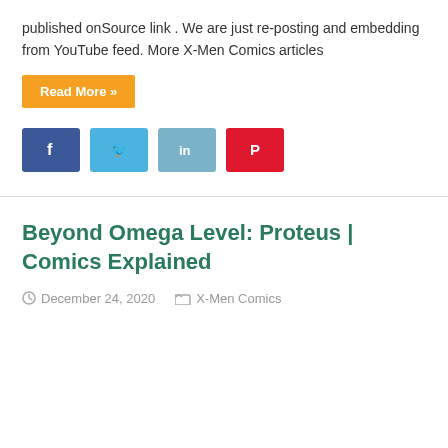published onSource link . We are just re-posting and embedding from YouTube feed. More X-Men Comics articles
Read More »
[Figure (other): Social share buttons: Facebook, Twitter, LinkedIn, Pinterest]
Beyond Omega Level: Proteus | Comics Explained
December 24, 2020   X-Men Comics